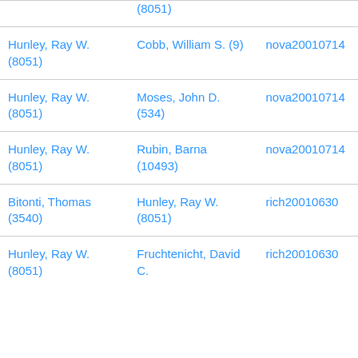| (8051) | (cut off at top) |  |
| Hunley, Ray W. (8051) | Cobb, William S. (9) | nova20010714 |
| Hunley, Ray W. (8051) | Moses, John D. (534) | nova20010714 |
| Hunley, Ray W. (8051) | Rubin, Barna (10493) | nova20010714 |
| Bitonti, Thomas (3540) | Hunley, Ray W. (8051) | rich20010630 |
| Hunley, Ray W. (8051) | Fruchtenicht, David C. | rich20010630 |